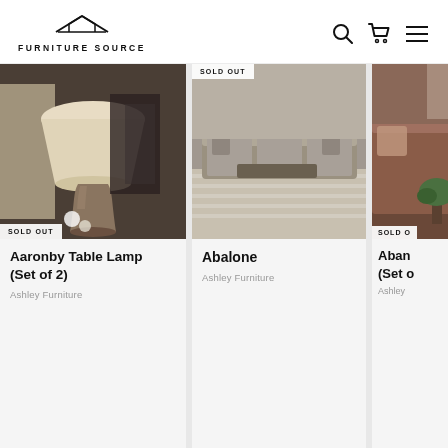[Figure (logo): Furniture Source logo with roof/house icon above the text]
[Figure (screenshot): E-commerce product listing page showing three furniture/home product cards: Aaronby Table Lamp (Set of 2) by Ashley Furniture - SOLD OUT, Abalone by Ashley Furniture - SOLD OUT, and a third partially visible product (Aban... Set o...) by Ashley - SOLD OUT]
Aaronby Table Lamp (Set of 2)
Ashley Furniture
Abalone
Ashley Furniture
Aban... (Set o...
Ashley